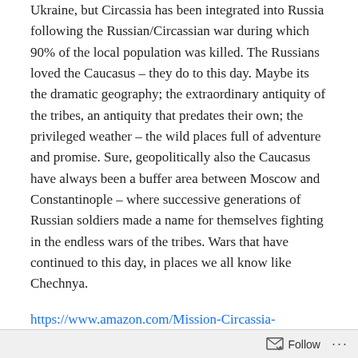Ukraine, but Circassia has been integrated into Russia following the Russian/Circassian war during which 90% of the local population was killed. The Russians loved the Caucasus – they do to this day. Maybe its the dramatic geography; the extraordinary antiquity of the tribes, an antiquity that predates their own; the privileged weather – the wild places full of adventure and promise. Sure, geopolitically also the Caucasus have always been a buffer area between Moscow and Constantinople – where successive generations of Russian soldiers made a name for themselves fighting in the endless wars of the tribes. Wars that have continued to this day, in places we all know like Chechnya.
https://www.amazon.com/Mission-Circassia-Kathleen-Odell/dp/0060132876/ref=sr_1_1?
Follow